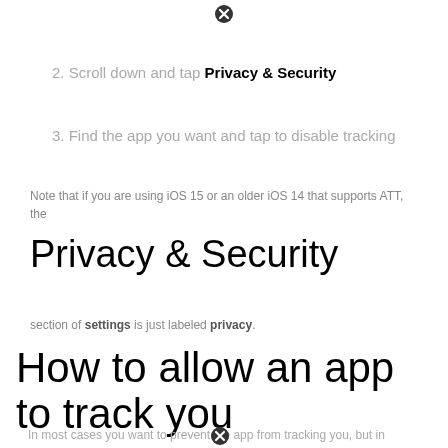2. Scroll down and tap Privacy & Security
3. Find the app you want and tap to disable tracking
Note that if you are using iOS 15 or an older iOS 14 that supports ATT, the
Privacy & Security
section of settings is just labeled privacy.
How to allow an app to track you
In most cases you want to prevent the app from tracking you, but in